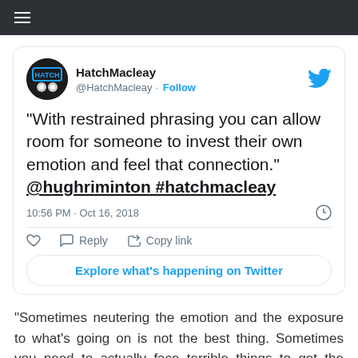[Figure (screenshot): Twitter/X top navigation bar with hamburger menu icon on dark background]
[Figure (screenshot): Embedded tweet from @HatchMacleay with profile avatar, follow button, tweet text quoting @hughriminton about restrained phrasing, timestamp 10:56 PM Oct 16 2018, action buttons (like, reply, copy link), and Explore on Twitter button]
“Sometimes neutering the emotion and the exposure to what’s going on is not the best thing. Sometimes you need to actually face terrible things to get the motivation … to make something worthwhile come out of it.”